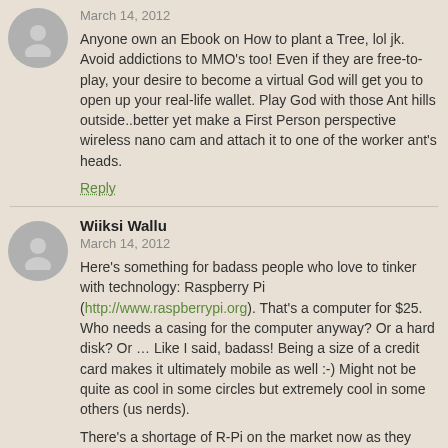March 14, 2012
Anyone own an Ebook on How to plant a Tree, lol jk. Avoid addictions to MMO's too! Even if they are free-to-play, your desire to become a virtual God will get you to open up your real-life wallet. Play God with those Ant hills outside..better yet make a First Person perspective wireless nano cam and attach it to one of the worker ant's heads.
Reply
Wiiksi Wallu
March 14, 2012
Here's something for badass people who love to tinker with technology: Raspberry Pi (http://www.raspberrypi.org). That's a computer for $25. Who needs a casing for the computer anyway? Or a hard disk? Or … Like I said, badass! Being a size of a credit card makes it ultimately mobile as well :-) Might not be quite as cool in some circles but extremely cool in some others (us nerds).
There's a shortage of R-Pi on the market now as they have only started shipping a short while ago. I will backbuy it until they get one shipped here.